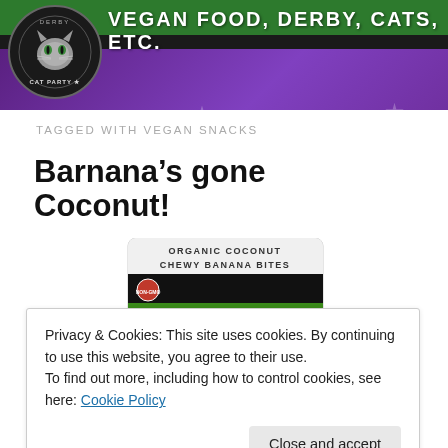VEGAN FOOD, DERBY, CATS, ETC.
TAGGED WITH VEGAN SNACKS
Barnana's gone Coconut!
[Figure (photo): Barnana Organic Coconut Chewy Banana Bites product package — green bag with barnana logo and text 'THE SUPER POTASSIUM SNACK']
Privacy & Cookies: This site uses cookies. By continuing to use this website, you agree to their use. To find out more, including how to control cookies, see here: Cookie Policy
Close and accept